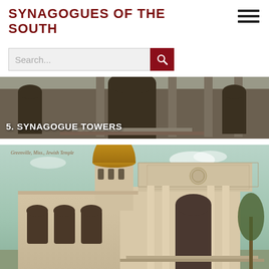SYNAGOGUES OF THE SOUTH
[Figure (screenshot): Search bar with dark red search button]
[Figure (photo): Historical photograph of synagogue exterior with text overlay '5. SYNAGOGUE TOWERS']
[Figure (photo): Vintage postcard image of Greenville, Miss. Jewish Temple with golden dome and classical columns]